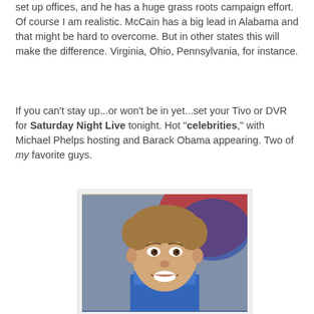set up offices, and he has a huge grass roots campaign effort. Of course I am realistic. McCain has a big lead in Alabama and that might be hard to overcome. But in other states this will make the difference. Virginia, Ohio, Pennsylvania, for instance.
If you can't stay up...or won't be in yet...set your Tivo or DVR for Saturday Night Live tonight. Hot "celebrities," with Michael Phelps hosting and Barack Obama appearing. Two of my favorite guys.
[Figure (photo): Photo of a young man (Michael Phelps) smiling, wearing a blue outfit, with a colorful background.]